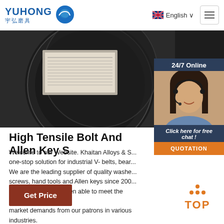[Figure (logo): YUHONG 宇弘磨具 logo with blue wave/globe icon]
[Figure (photo): Close-up photo of black industrial grinding discs/wheels with product label text]
[Figure (screenshot): 24/7 Online chat panel with female customer service agent wearing headset, Click here for free chat, QUOTATION button]
High Tensile Bolt And Allen Key S
Welcome to our Website. Khaitan Alloys & S... one-stop solution for industrial V- belts, bear... We are the leading supplier of quality washe... screws, hand tools and Allen keys since 200... company, we have been able to meet the increasing market demands from our patrons in various industries.
[Figure (other): Get Price button (brown/red rectangle)]
[Figure (other): TOP back-to-top button with orange dots and text]